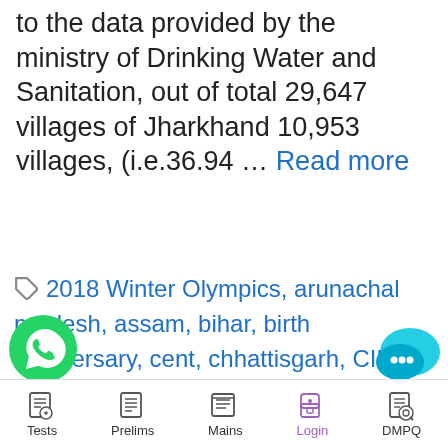Bharat Mission (Gramin) (SBM-G). According to the data provided by the ministry of Drinking Water and Sanitation, out of total 29,647 villages of Jharkhand 10,953 villages, (i.e.36.94 ... Read more
2018 Winter Olympics, arunachal pradesh, assam, bihar, birth anniversary, cent, chhattisgarh, CIP, Current Affairs, Delhi, development, Drinking Water, Drinking Water and Sanitation, government, Government of India, gujarat, haryana, himachal pradesh, IFFI, in jharkhand, India, India Ranks, Intellectual Property Index,
[Figure (logo): YouTube play button red logo]
[Figure (logo): WhatsApp green icon]
[Figure (logo): Chat bubble icon (blue/teal)]
Tests  Prelims  Mains  Login  DMPQ